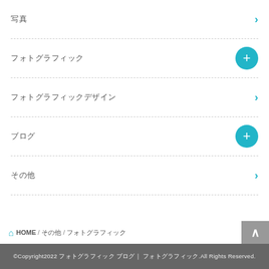写真
フォトグラフィック
フォトグラフィックデザイン
ブログ
その他
HOME / その他 / フォトグラフィック
©Copyright2022 フォトグラフィック ブログ｜ フォトグラフィック.All Rights Reserved.